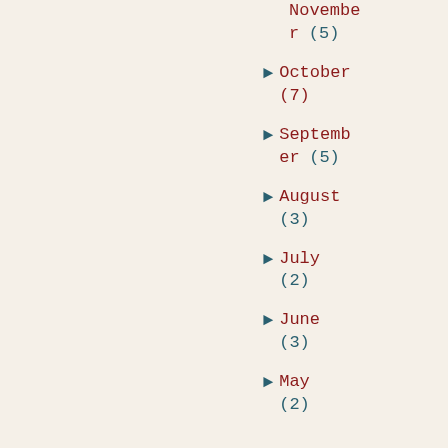November (5)
► October (7)
► September (5)
► August (3)
► July (2)
► June (3)
► May (2)